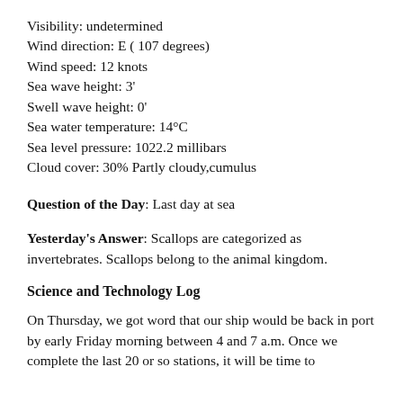Visibility: undetermined
Wind direction: E (107 degrees)
Wind speed:  12 knots
Sea wave height: 3'
Swell wave height: 0'
Sea water temperature: 14°C
Sea level pressure:  1022.2 millibars
Cloud cover: 30% Partly cloudy,cumulus
Question of the Day: Last day at sea
Yesterday's Answer: Scallops are categorized as invertebrates. Scallops belong to the animal kingdom.
Science and Technology Log
On Thursday, we got word that our ship would be back in port by early Friday morning between 4 and 7 a.m. Once we complete the last 20 or so stations, it will be time to